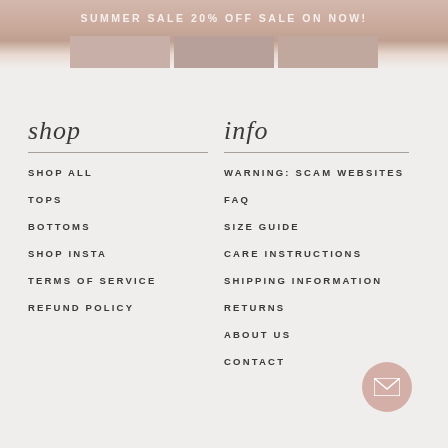SUMMER SALE 20% OFF SALE ON NOW!
shop
SHOP ALL
TOPS
BOTTOMS
SHOP INSTA
TERMS OF SERVICE
REFUND POLICY
info
WARNING: SCAM WEBSITES
FAQ
SIZE GUIDE
CARE INSTRUCTIONS
SHIPPING INFORMATION
RETURNS
ABOUT US
CONTACT